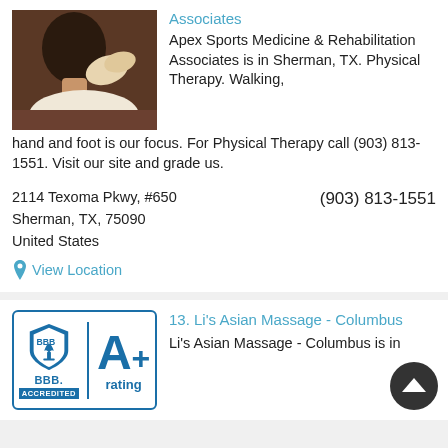[Figure (photo): Person receiving massage or physical therapy on neck/back area]
Apex Sports Medicine & Rehabilitation Associates is in Sherman, TX. Physical Therapy. Walking, hand and foot is our focus. For Physical Therapy call (903) 813-1551. Visit our site and grade us.
2114 Texoma Pkwy, #650
Sherman, TX, 75090
United States
(903) 813-1551
View Location
[Figure (logo): BBB Accredited A+ rating logo with shield icon]
13. Li's Asian Massage - Columbus
Li's Asian Massage - Columbus is in